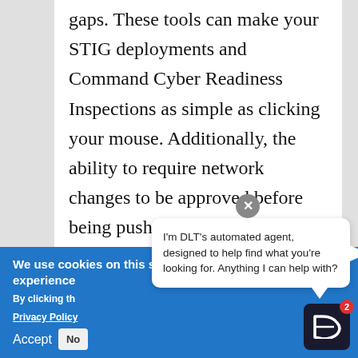gaps. These tools can make your STIG deployments and Command Cyber Readiness Inspections as simple as clicking your mouse. Additionally, the ability to require network changes to be approved before being pushed out can help ensure that no changes violate regulations
We use cookies on this site to enhance your user experience
By clicking the... Privacy Policy...
Accept   No...
[Figure (screenshot): Chat popup bubble from DLT automated agent saying: I'm DLT's automated agent, designed to help find what you're looking for. Anything I can help with? With DLT logo button with badge showing 2.]